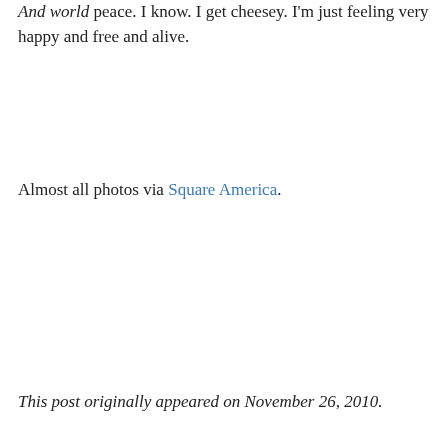And world peace. I know. I get cheesey. I'm just feeling very happy and free and alive.
Almost all photos via Square America.
This post originally appeared on November 26, 2010.